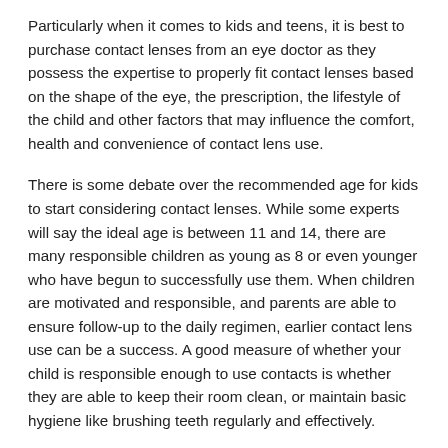Particularly when it comes to kids and teens, it is best to purchase contact lenses from an eye doctor as they possess the expertise to properly fit contact lenses based on the shape of the eye, the prescription, the lifestyle of the child and other factors that may influence the comfort, health and convenience of contact lens use.
There is some debate over the recommended age for kids to start considering contact lenses. While some experts will say the ideal age is between 11 and 14, there are many responsible children as young as 8 or even younger who have begun to successfully use them. When children are motivated and responsible, and parents are able to ensure follow-up to the daily regimen, earlier contact lens use can be a success. A good measure of whether your child is responsible enough to use contacts is whether they are able to keep their room clean, or maintain basic hygiene like brushing teeth regularly and effectively.
When you think your child might be ready, you should schedule an appointment with your eye doctor for a